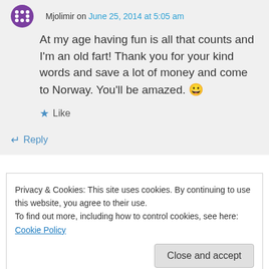Mjolimir on June 25, 2014 at 5:05 am
At my age having fun is all that counts and I'm an old fart! Thank you for your kind words and save a lot of money and come to Norway. You'll be amazed. 😀
★ Like
↵ Reply
Privacy & Cookies: This site uses cookies. By continuing to use this website, you agree to their use.
To find out more, including how to control cookies, see here: Cookie Policy
Close and accept
Goodness, you have done so much and still